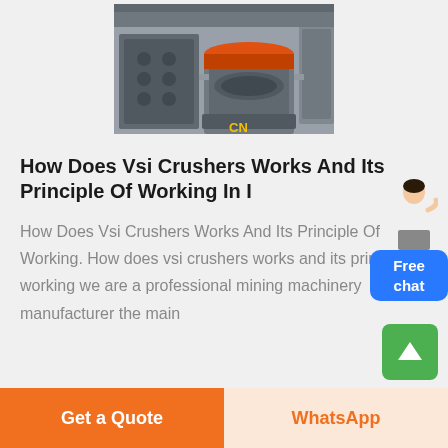[Figure (photo): Industrial VSI crusher machine, large grey/silver industrial grinding or crushing equipment with orange top component and yellow CN branding at the bottom, shown in a workshop setting]
How Does Vsi Crushers Works And Its Principle Of Working In I
How Does Vsi Crushers Works And Its Principle Of Working. How does vsi crushers works and its principle of working we are a professional mining machinery manufacturer the main
Get a Quote | WhatsApp